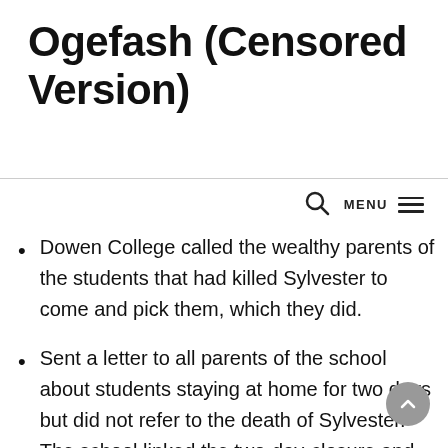Ogefash (Censored Version)
Dowen College called the wealthy parents of the students that had killed Sylvester to come and pick them, which they did.
Sent a letter to all parents of the school about students staying at home for two days but did not refer to the death of Sylvester. The school linked the two-day-closure and pupil stay-at-home to the current happenings and the emotional disposition of its pupils. It lied that they wanted the pupils to revise for their